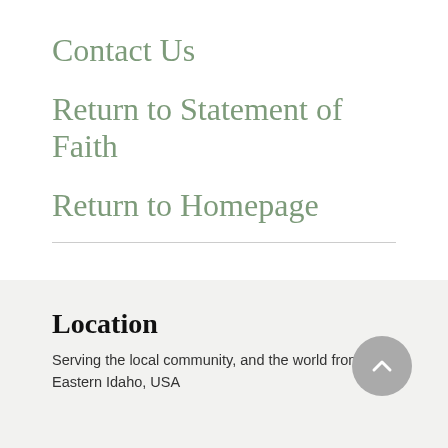Contact Us
Return to Statement of Faith
Return to Homepage
Location
Serving the local community, and the world from Eastern Idaho, USA